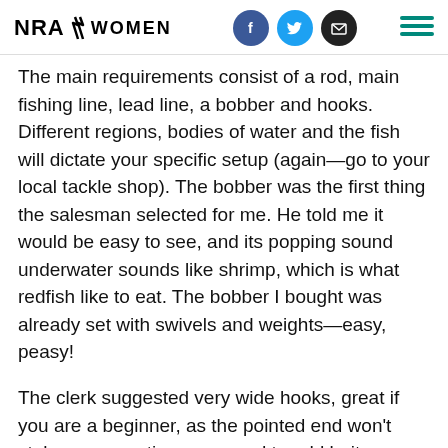NRA WOMEN
The main requirements consist of a rod, main fishing line, lead line, a bobber and hooks. Different regions, bodies of water and the fish will dictate your specific setup (again—go to your local tackle shop). The bobber was the first thing the salesman selected for me. He told me it would be easy to see, and its popping sound underwater sounds like shrimp, which is what redfish like to eat. The bobber I bought was already set with swivels and weights—easy, peasy!
The clerk suggested very wide hooks, great if you are a beginner, as the pointed end won't stab you every time you need to add bait or unhook a fish. Always purchase your main line and fishing rod together, because the weight limit on your line